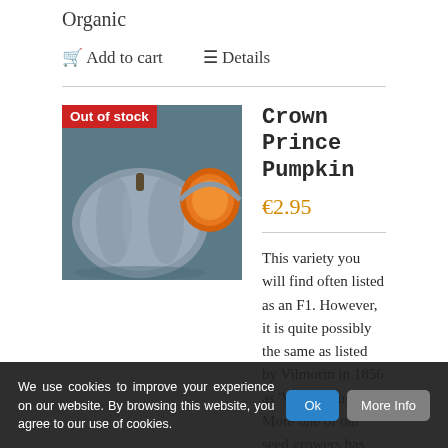Organic
🛒 Add to cart   ≡ Details
Crown Prince Pumpkin
€2.95
[Figure (photo): Crown Prince Pumpkin photo showing blue-grey pumpkins with an orange cut section, with 'Out of stock' badge in red]
This variety you will find often listed as an F1. However, it is quite possibly the same as listed by Vilmorin in 1856 as 'Verte d'Australie' More one of our seed growers has ...seed year...the same each...is definitely not an F1. As so...
We use cookies to improve your experience on our website. By browsing this website, you agree to our use of cookies.